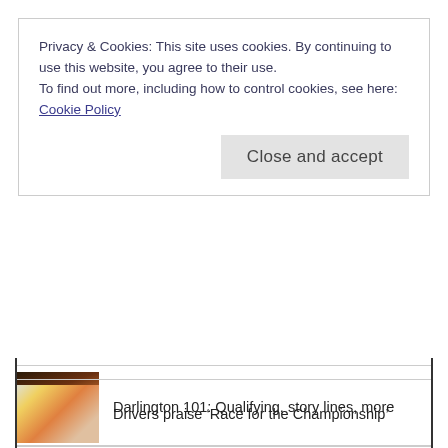Privacy & Cookies: This site uses cookies. By continuing to use this website, you agree to their use.
To find out more, including how to control cookies, see here: Cookie Policy
Close and accept
[Figure (photo): Partial racing-related photo at top]
Darlington 101: Qualifying, story lines, more
[Figure (photo): Blurry racing car photo for Darlington 101 article]
Wallace to pursue owners' title in No. 45
[Figure (photo): Photo of Bubba Wallace in racing gear]
Drivers praise 'Race for the Championship'
[Figure (photo): Photo of drivers for Race for the Championship article]